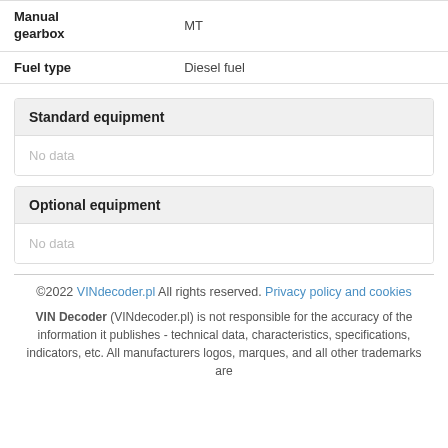|  |  |
| --- | --- |
| Manual gearbox | MT |
| Fuel type | Diesel fuel |
Standard equipment
No data
Optional equipment
No data
©2022 VINdecoder.pl All rights reserved. Privacy policy and cookies
VIN Decoder (VINdecoder.pl) is not responsible for the accuracy of the information it publishes - technical data, characteristics, specifications, indicators, etc. All manufacturers logos, marques, and all other trademarks are